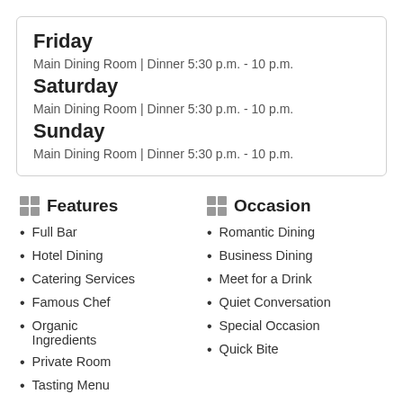Friday
Main Dining Room | Dinner 5:30 p.m. - 10 p.m.
Saturday
Main Dining Room | Dinner 5:30 p.m. - 10 p.m.
Sunday
Main Dining Room | Dinner 5:30 p.m. - 10 p.m.
Features
Full Bar
Hotel Dining
Catering Services
Famous Chef
Organic Ingredients
Private Room
Tasting Menu
Winning Wine List
Occasion
Romantic Dining
Business Dining
Meet for a Drink
Quiet Conversation
Special Occasion
Quick Bite